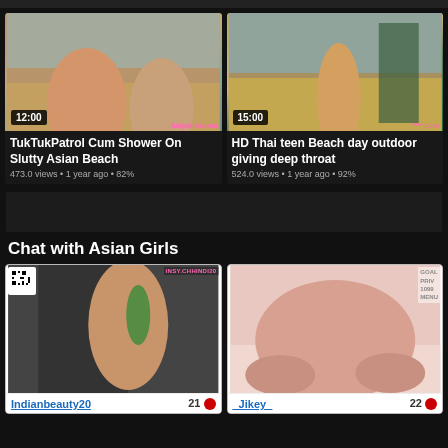[Figure (screenshot): Top dark bar strip]
[Figure (photo): Video thumbnail: two women in bikinis on beach, duration 12:00]
TukTukPatrol Cum Shower On Slutty Asian Beach
473.0 views • 1 year ago • 82%
[Figure (photo): Video thumbnail: woman in yellow bikini on beach, duration 15:00]
HD Thai teen Beach day outdoor giving deep throat
524.0 views • 1 year ago • 92%
[Figure (screenshot): Ad banner strip]
Chat with Asian Girls
[Figure (photo): Cam thumbnail for Indianbeauty20]
Indianbeauty20   21
[Figure (photo): Cam thumbnail for _Jikey_]
_Jikey_   22